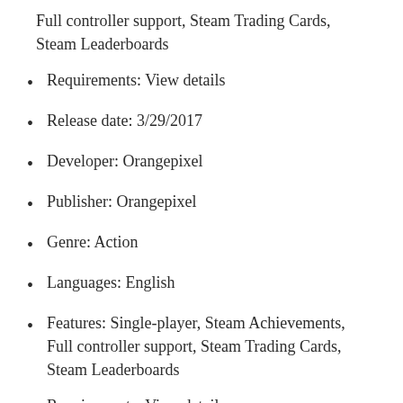Full controller support, Steam Trading Cards, Steam Leaderboards
Requirements: View details
Release date: 3/29/2017
Developer: Orangepixel
Publisher: Orangepixel
Genre: Action
Languages: English
Features: Single-player, Steam Achievements, Full controller support, Steam Trading Cards, Steam Leaderboards
Requirements: View details
Release date: 3/29/2017